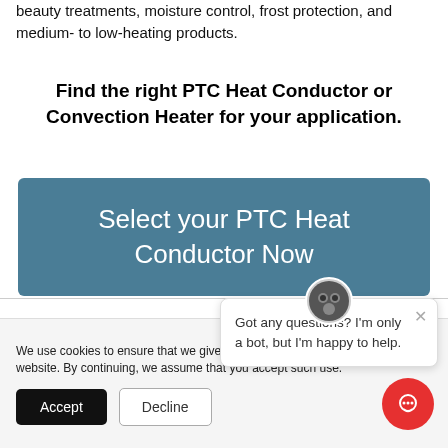beauty treatments, moisture control, frost protection, and medium- to low-heating products.
Find the right PTC Heat Conductor or Convection Heater for your application.
[Figure (other): Teal/blue rounded rectangle CTA button with white text reading 'Select your PTC Heat Conductor Now']
[Figure (other): Chatbot popup bubble with avatar icon showing 'Got any questions? I'm only a bot, but I'm happy to help.' with a close X button]
We use cookies to ensure that we give you the best experience on our website. By continuing, we assume that you accept such use.
[Figure (other): Cookie consent bar with Accept (black button) and Decline (outlined button) options, plus a red chat FAB button in bottom right]